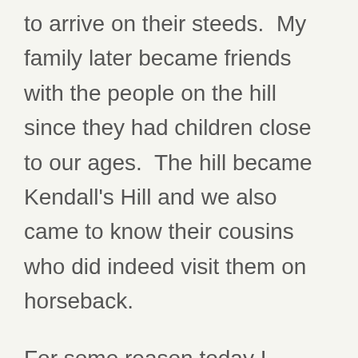to arrive on their steeds.  My family later became friends with the people on the hill since they had children close to our ages.  The hill became Kendall's Hill and we also came to know their cousins who did indeed visit them on horseback.

For some reason today I started thinking about that hill and the nearby geography and wondered why I had never thought of it in the bigger picture before.  The centerpiece of it, to me, is a